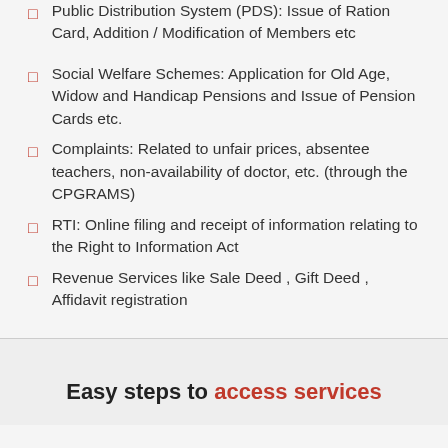Public Distribution System (PDS): Issue of Ration Card, Addition / Modification of Members etc
Social Welfare Schemes: Application for Old Age, Widow and Handicap Pensions and Issue of Pension Cards etc.
Complaints: Related to unfair prices, absentee teachers, non-availability of doctor, etc. (through the CPGRAMS)
RTI: Online filing and receipt of information relating to the Right to Information Act
Revenue Services like Sale Deed , Gift Deed , Affidavit registration
Easy steps to access services